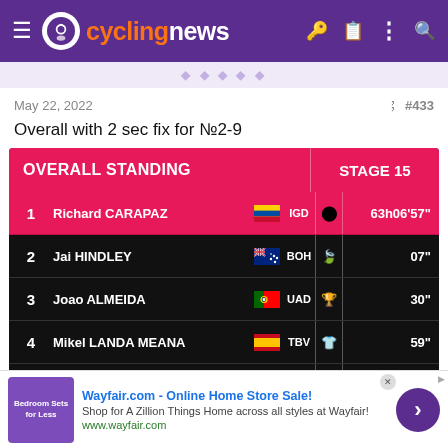cyclingnews
May 22, 2022  #433
Overall with 2 sec fix for №2-9
[Figure (screenshot): Overall Standing Stage 15 leaderboard: 1 Richard CARAPAZ (ECU/IGD) 63h06'57", 2 Jai HINDLEY (AUS/BOH) 07", 3 Joao ALMEIDA (POR/UAD) 30", 4 Mikel LANDA MEANA (ESP/TBV) 59", 5 Domenico POZZOVIVO (ITA/IWG) 01'01", 6 Pello BILBAO LOPEZ de ARMENTIA (ESP/TBV) 01'52"]
Wayfair.com - Online Home Store Sale! Shop for A Zillion Things Home across all styles at Wayfair! www.wayfair.com